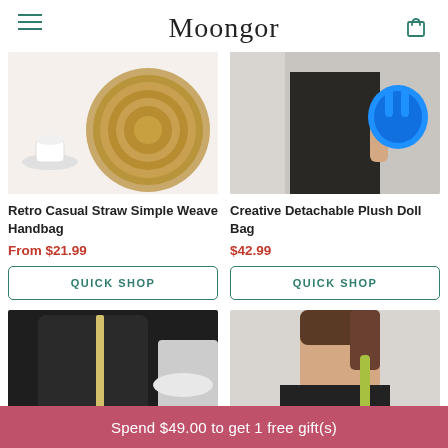Moongor
[Figure (photo): Retro casual round straw woven handbag on white background with a cup]
[Figure (photo): Creative detachable blue plush doll bag held by person in black dress]
Retro Casual Straw Simple Weave Handbag
From $21.99
QUICK SHOP
Creative Detachable Plush Doll Bag
$42.99
QUICK SHOP
[Figure (photo): Black bag with yellow stripe detail on dark background]
[Figure (photo): Person with brown hair wearing black top with yellow-green bag strap]
Spend $49.00 to get 1 free gift(s)